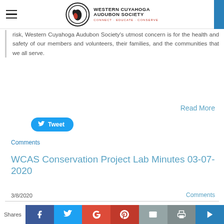Western Cuyahoga Audubon Society — CONNECT | EDUCATE | CONSERVE
risk, Western Cuyahoga Audubon Society's utmost concern is for the health and safety of our members and volunteers, their families, and the communities that we all serve.
Read More
Tweet
Comments
WCAS Conservation Project Lab Minutes 03-07-2020
3/8/2020
Comments